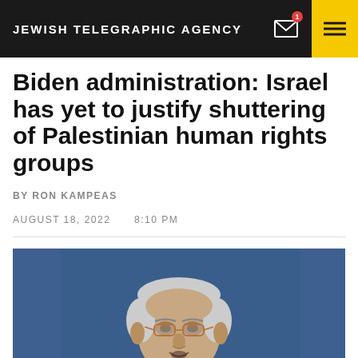JEWISH TELEGRAPHIC AGENCY
Biden administration: Israel has yet to justify shuttering of Palestinian human rights groups
BY RON KAMPEAS
AUGUST 18, 2022   8:10 PM
[Figure (photo): An elderly man in a suit speaking or presenting, photographed against a blue background]